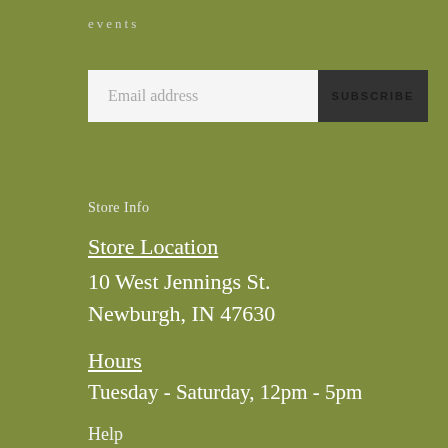events
Email address   SUBSCRIBE
Store Info
Store Location
10 West Jennings St.
Newburgh, IN 47630
Hours
Tuesday - Saturday, 12pm - 5pm
Help